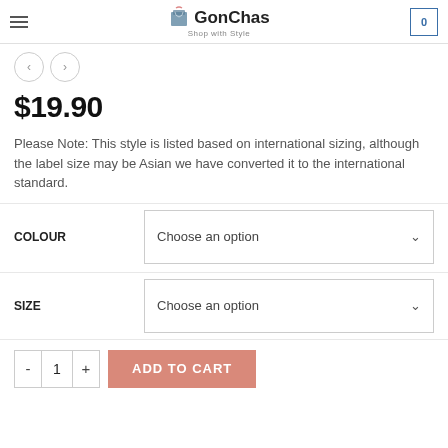GonChas — Shop with Style
$19.90
Please Note: This style is listed based on international sizing, although the label size may be Asian we have converted it to the international standard.
COLOUR — Choose an option
SIZE — Choose an option
- 1 + ADD TO CART